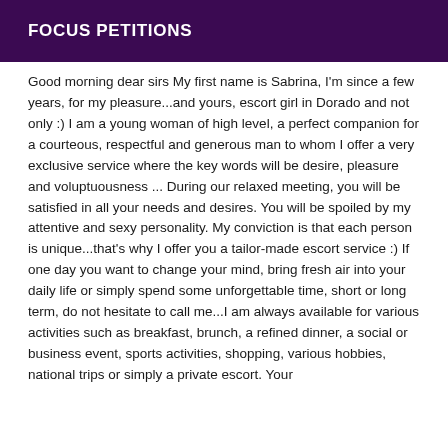FOCUS PETITIONS
Good morning dear sirs My first name is Sabrina, I'm since a few years, for my pleasure...and yours, escort girl in Dorado and not only :) I am a young woman of high level, a perfect companion for a courteous, respectful and generous man to whom I offer a very exclusive service where the key words will be desire, pleasure and voluptuousness ... During our relaxed meeting, you will be satisfied in all your needs and desires. You will be spoiled by my attentive and sexy personality. My conviction is that each person is unique...that's why I offer you a tailor-made escort service :) If one day you want to change your mind, bring fresh air into your daily life or simply spend some unforgettable time, short or long term, do not hesitate to call me...I am always available for various activities such as breakfast, brunch, a refined dinner, a social or business event, sports activities, shopping, various hobbies, national trips or simply a private escort. Your